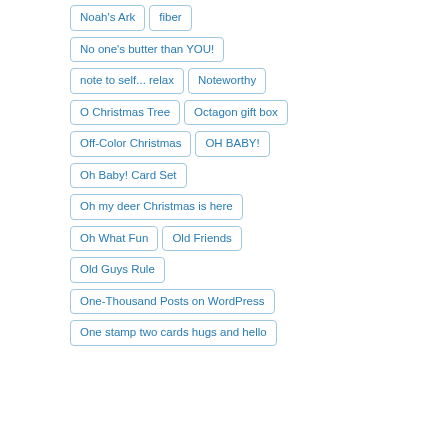Noah's Ark
fiber
No one's butter than YOU!
note to self... relax
Noteworthy
O Christmas Tree
Octagon gift box
Off-Color Christmas
OH BABY!
Oh Baby! Card Set
Oh my deer Christmas is here
Oh What Fun
Old Friends
Old Guys Rule
One-Thousand Posts on WordPress
One stamp two cards hugs and hello